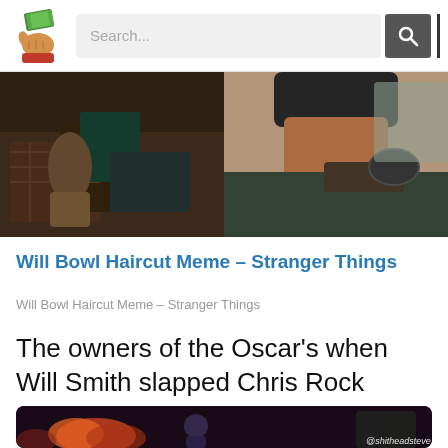Search...
[Figure (photo): Two side-by-side photos: left shows people in a scene reminiscent of Stranger Things, right shows a person in a car with dark hat]
Will Bowl Haircut Meme – Stranger Things
Will Bowl Haircut Meme – Stranger Things
The owners of the Oscar's when Will Smith slapped Chris Rock
[Figure (photo): Bottom partial image with dark/colorful background, watermark @shitheadsteve]